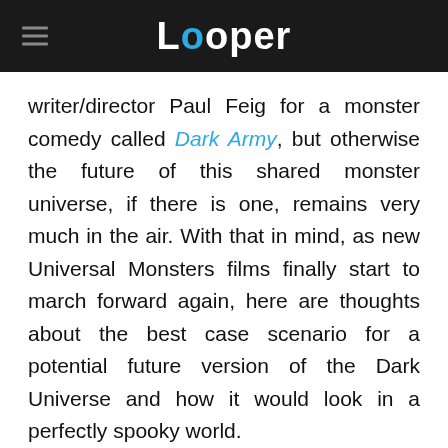Looper
writer/director Paul Feig for a monster comedy called Dark Army, but otherwise the future of this shared monster universe, if there is one, remains very much in the air. With that in mind, as new Universal Monsters films finally start to march forward again, here are thoughts about the best case scenario for a potential future version of the Dark Universe and how it would look in a perfectly spooky world.